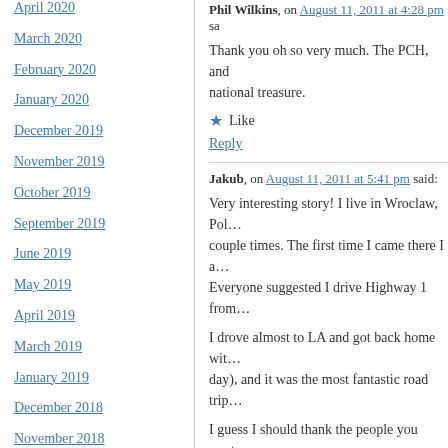April 2020
March 2020
February 2020
January 2020
December 2019
November 2019
October 2019
September 2019
June 2019
May 2019
April 2019
March 2019
January 2019
December 2018
November 2018
October 2018
September 2018
Phil Wilkins, on August 11, 2011 at 4:28 pm said:
Thank you oh so very much. The PCH, and national treasure.
Like
Reply
Jakub, on August 11, 2011 at 5:41 pm said:
Very interesting story! I live in Wroclaw, Pol... couple times. The first time I came there I a... Everyone suggested I drive Highway 1 from...
I drove almost to LA and got back home wit... day), and it was the most fantastic road trip...
I guess I should thank the people you wrote... there once again with my sweetheart when...
It is truly a wonderful area and an unforgetta... American tourists who took a picture of me... I was back home. Loved all the “vista points...
Loading...
Reply